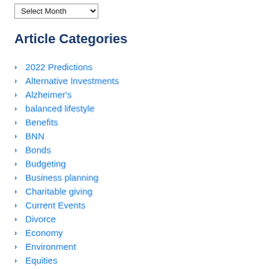Article Categories
2022 Predictions
Alternative Investments
Alzheimer's
balanced lifestyle
Benefits
BNN
Bonds
Budgeting
Business planning
Charitable giving
Current Events
Divorce
Economy
Environment
Equities
Estate Planning
ETF